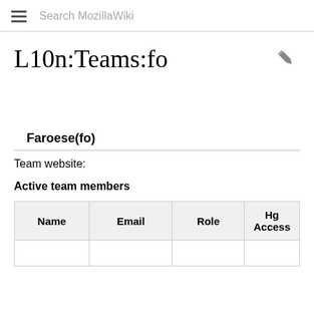Search MozillaWiki
L10n:Teams:fo
Faroese(fo)
Team website:
Active team members
| Name | Email | Role | Hg Access |
| --- | --- | --- | --- |
|  |